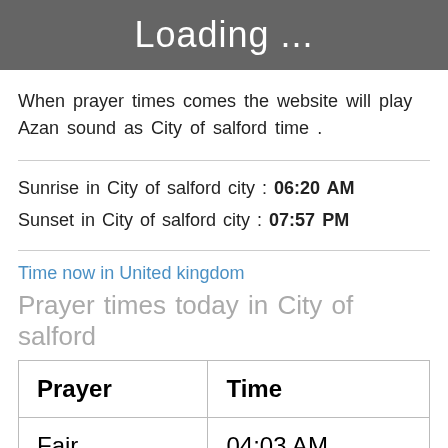Loading ...
When prayer times comes the website will play Azan sound as City of salford time .
Sunrise in City of salford city : 06:20 AM
Sunset in City of salford city : 07:57 PM
Time now in United kingdom
Prayer times today in City of salford
| Prayer | Time |
| --- | --- |
| Fajr | 04:03 AM |
| Sunrise | 06:20 AM |